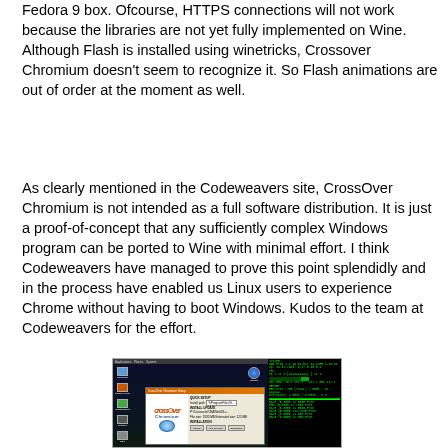Fedora 9 box. Ofcourse, HTTPS connections will not work because the libraries are not yet fully implemented on Wine. Although Flash is installed using winetricks, Crossover Chromium doesn't seem to recognize it. So Flash animations are out of order at the moment as well.
As clearly mentioned in the Codeweavers site, CrossOver Chromium is not intended as a full software distribution. It is just a proof-of-concept that any sufficiently complex Windows program can be ported to Wine with minimal effort. I think Codeweavers have managed to prove this point splendidly and in the process have enabled us Linux users to experience Chrome without having to boot Windows. Kudos to the team at Codeweavers for the effort.
[Figure (screenshot): Screenshot of a Linux desktop (dark background) showing the CrossOver Chromium installer dialog with the CrossOver logo, alongside a system monitor panel on the right side.]